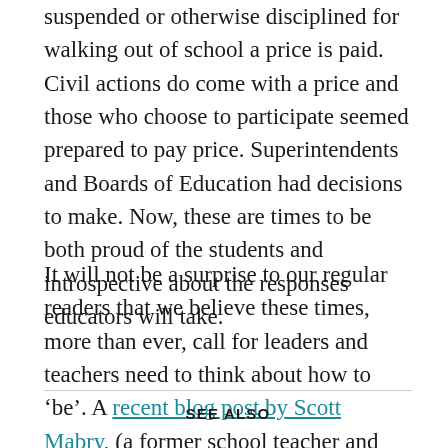suspended or otherwise disciplined for walking out of school a price is paid. Civil actions do come with a price and those who choose to participate seemed prepared to pay price. Superintendents and Boards of Education had decisions to make. Now, these are times to be both proud of the students and introspective about the responses educators will take.
It will not be a surprise to our regular readers that we believe these times, more than ever, call for leaders and teachers need to think about how to ‘be’. A recent blog post by Scott Mabry, (a former school teacher and experienced senior executive, whose work is helping others find meaning in their life and work) begins with a series of words Mabry believes are about how to ‘be’.
SEE ALSO